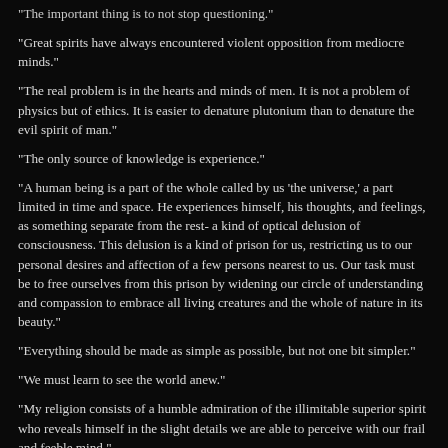"The important thing is to not stop questioning."
"Great spirits have always encountered violent opposition from mediocre minds."
"The real problem is in the hearts and minds of men. It is not a problem of physics but of ethics. It is easier to denature plutonium than to denature the evil spirit of man."
"The only source of knowledge is experience."
"A human being is a part of the whole called by us 'the universe,' a part limited in time and space. He experiences himself, his thoughts, and feelings, as something separate from the rest- a kind of optical delusion of consciousness. This delusion is a kind of prison for us, restricting us to our personal desires and affection of a few persons nearest to us. Our task must be to free ourselves from this prison by widening our circle of understanding and compassion to embrace all living creatures and the whole of nature in its beauty."
"Everything should be made as simple as possible, but not one bit simpler."
"We must learn to see the world anew."
"My religion consists of a humble admiration of the illimitable superior spirit who reveals himself in the slight details we are able to perceive with our frail and feeble mind."